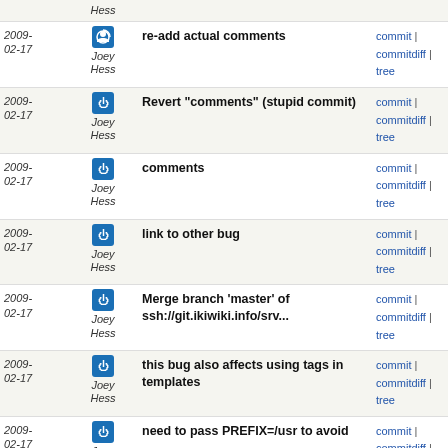2009-02-17 | Joey Hess | re-add actual comments | commit | commitdiff | tree
2009-02-17 | Joey Hess | Revert "comments" (stupid commit) | commit | commitdiff | tree
2009-02-17 | Joey Hess | comments | commit | commitdiff | tree
2009-02-17 | Joey Hess | link to other bug | commit | commitdiff | tree
2009-02-17 | Joey Hess | Merge branch 'master' of ssh://git.ikiwiki.info/srv... | commit | commitdiff | tree
2009-02-17 | Joey Hess | this bug also affects using tags in templates | commit | commitdiff | tree
2009-02-17 | Joey Hess | need to pass PREFIX=/usr to avoid | commit | commitdiff | tree
2009-02-17 | Joey Hess | update compat level | commit | commitdiff | tree
2009-02-16 | Joey | avoid compressing html | commit | commitdiff | tree